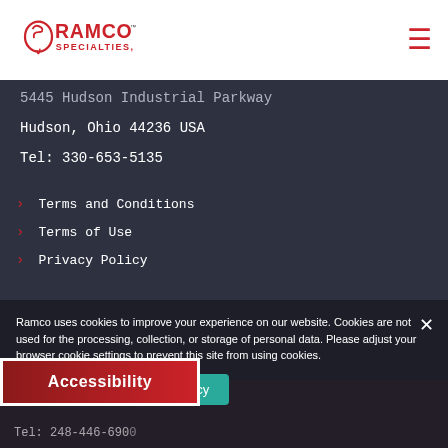[Figure (logo): Ramco Specialties Inc. logo with stylized balloon/swirl icon in red and black text]
5445 Hudson Industrial Parkway
Hudson, Ohio 44236 USA
Tel: 330-653-5135
Terms and Conditions
Terms of Use
Privacy Policy
RAMCO MICHIGAN
Ramco uses cookies to improve your experience on our website. Cookies are not used for the processing, collection, or storage of personal data. Please adjust your browser cookie settings to prevent this site from using cookies.
Accessibility
Accept
Privacy policy
Tel: 248-446-6900